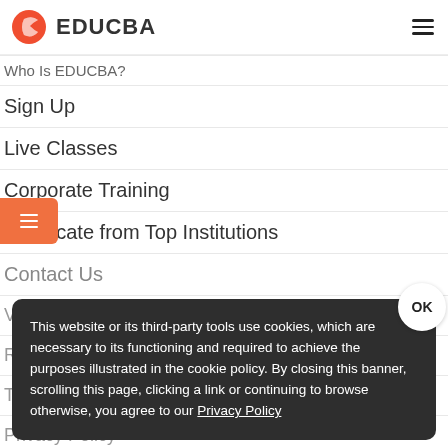EDUCBA
Who Is EDUCBA?
Sign Up
Live Classes
Corporate Training
Certificate from Top Institutions
Contact Us
Verifiable Certificates
Reviews
Terms
Privacy Policy
This website or its third-party tools use cookies, which are necessary to its functioning and required to achieve the purposes illustrated in the cookie policy. By closing this banner, scrolling this page, clicking a link or continuing to browse otherwise, you agree to our Privacy Policy